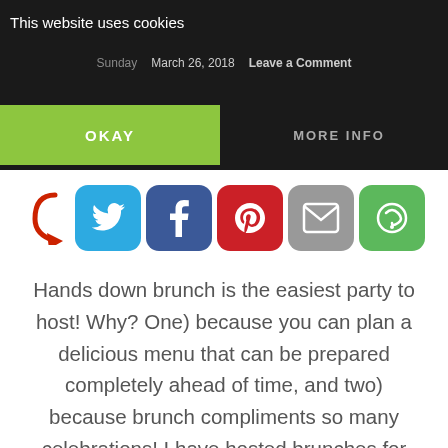This website uses cookies    March 26, 2018    Leave a Comment
[Figure (screenshot): Cookie consent banner with OKAY and MORE INFO buttons, and social share icons (Twitter, Facebook, Pinterest, Email, More)]
Hands down brunch is the easiest party to host! Why? One) because you can plan a delicious menu that can be prepared completely ahead of time, and two) because brunch compliments so many celebrations! I have hosted brunches for graduations, baptisms, First Communions, Christmas gatherings, and just because I want to hang with my friends. ...